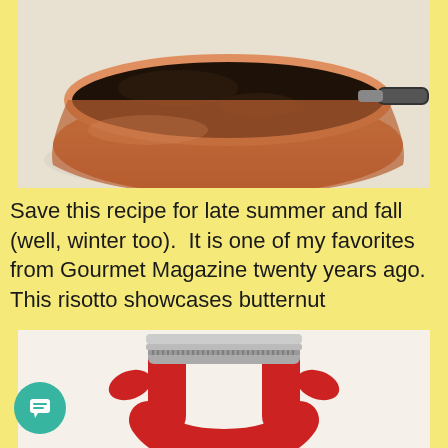[Figure (photo): Close-up photo of a copper saucepan or pot viewed from above, containing dark brown substance (possibly chocolate or coffee grounds), with a metallic handle visible, on a light beige background.]
Save this recipe for late summer and fall (well, winter too).  It is one of my favorites from Gourmet Magazine twenty years ago.  This risotto showcases butternut
[Figure (photo): Photo of a red Y-shaped vegetable peeler with a serrated stainless steel blade, viewed from the front on a white background.]